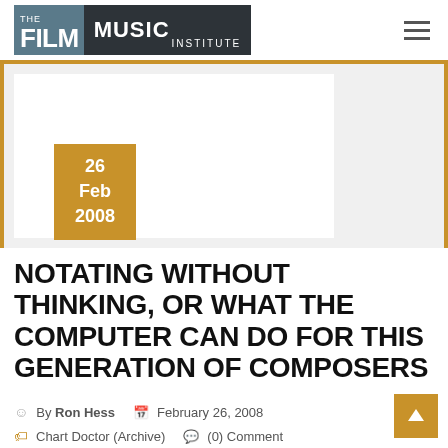THE FILM MUSIC INSTITUTE
[Figure (other): Featured article image area with date badge showing 26 Feb 2008 in gold/brown color on a light grey background]
NOTATING WITHOUT THINKING, OR WHAT THE COMPUTER CAN DO FOR THIS GENERATION OF COMPOSERS
By Ron Hess   February 26, 2008
Chart Doctor (Archive)   (0) Comment